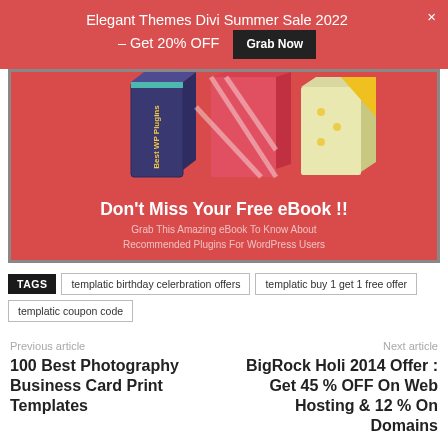Elegant Themes Divi Summer Sale 2022 – Get 20% OFF  Grab Now  ×
[Figure (infographic): Red promotional box with illustrated books and text 'Don't Miss Your Free eBook !! Grab This Amazing eBook To Know About Recommended Plugins For WordPress Users']
TAGS  templatic birthday celerbration offers  templatic buy 1 get 1 free offer  templatic coupon code
Previous article
100 Best Photography Business Card Print Templates
Next article
BigRock Holi 2014 Offer : Get 45 % OFF On Web Hosting & 12 % On Domains